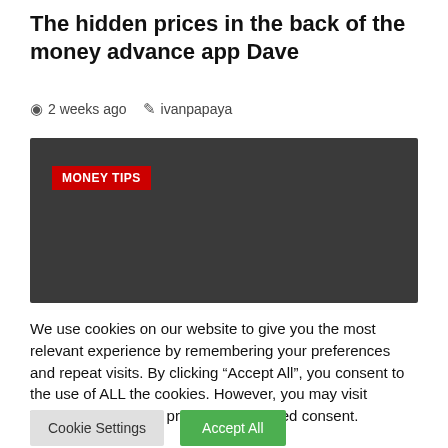The hidden prices in the back of the money advance app Dave
2 weeks ago   ivanpapaya
[Figure (other): Dark grey image placeholder with a red 'MONEY TIPS' badge in the upper left corner]
We use cookies on our website to give you the most relevant experience by remembering your preferences and repeat visits. By clicking “Accept All”, you consent to the use of ALL the cookies. However, you may visit "Cookie Settings" to provide a controlled consent.
Cookie Settings   Accept All